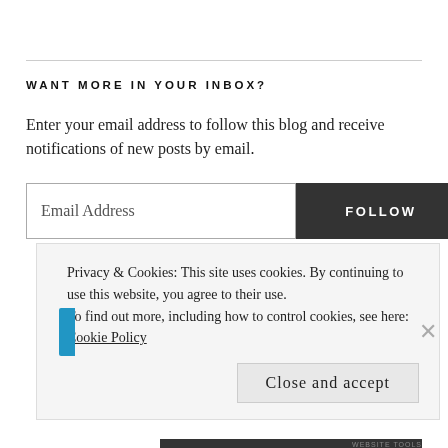WANT MORE IN YOUR INBOX?
Enter your email address to follow this blog and receive notifications of new posts by email.
Email Address  FOLLOW
Privacy & Cookies: This site uses cookies. By continuing to use this website, you agree to their use.
To find out more, including how to control cookies, see here: Cookie Policy
Close and accept